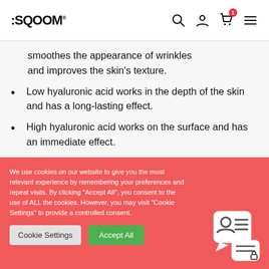:SQOOM
smoothes the appearance of wrinkles and improves the skin's texture.
Low hyaluronic acid works in the depth of the skin and has a long-lasting effect.
High hyaluronic acid works on the surface and has an immediate effect.
We use cookies on our website to give you the most relevant experience by remembering your preferences and repeat visits. By clicking "Accept All", you consent to the use of ALL the cookies. However, you may visit "Cookie Settings" to provide a controlled consent.